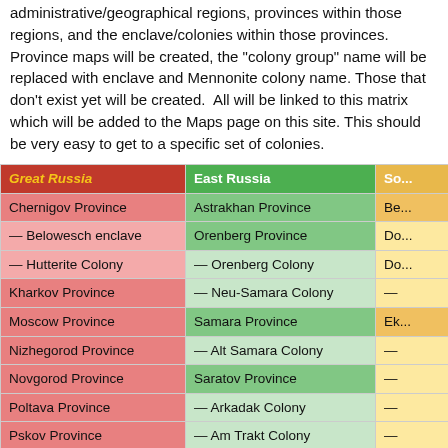administrative/geographical regions, provinces within those regions, and the enclave/colonies within those provinces. Province maps will be created, the "colony group" name will be replaced with enclave and Mennonite colony name. Those that don't exist yet will be created. All will be linked to this matrix which will be added to the Maps page on this site. This should be very easy to get to a specific set of colonies.
| Great Russia | East Russia | So... |
| --- | --- | --- |
| Chernigov Province | Astrakhan Province | Be... |
| — Belowesch enclave | Orenberg Province | Do... |
| — Hutterite Colony | — Orenberg Colony | Do... |
| Kharkov Province | — Neu-Samara Colony | — |
| Moscow Province | Samara Province | Ek... |
| Nizhegorod Province | — Alt Samara Colony | — |
| Novgorod Province | Saratov Province | — |
| Poltava Province | — Arkadak Colony | — |
| Pskov Province | — Am Trakt Colony | — |
| St. Petersburg Province | — Volga enclave | — |
| Voronezh Province |  | — |
|  | Asiatic Russia | — |